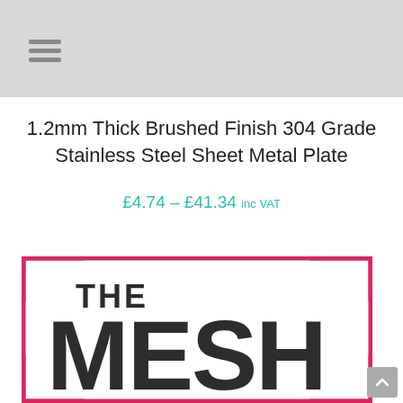1.2mm Thick Brushed Finish 304 Grade Stainless Steel Sheet Metal Plate
£4.74 – £41.34 inc VAT
[Figure (logo): The Mesh Company logo with pink border rectangle, 'THE' in bold dark text and 'MESH' in very large bold dark letters]